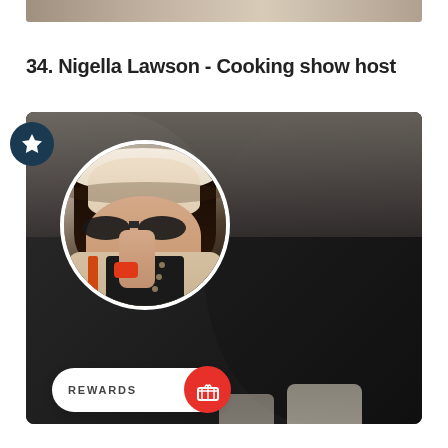[Figure (photo): Top portion of a previous image cropped at the top of the page]
34. Nigella Lawson - Cooking show host
[Figure (photo): Photo of Nigella Lawson wearing a wide-brim cream hat and sunglasses, shown in a circular profile inset over a background photo of someone in a black outfit. A star badge icon appears top-left. A REWARDS pill button appears bottom-left of the image.]